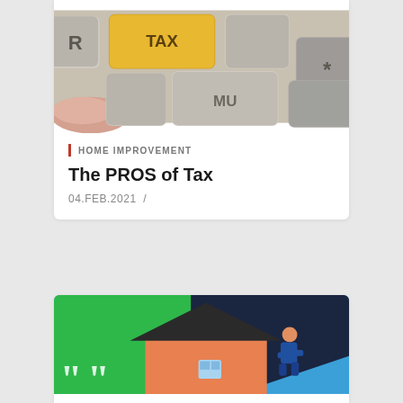[Figure (photo): Close-up photo of keyboard keys including a yellow/orange TAX key and grey keys including MU and asterisk keys, with a finger pressing one of the keys]
HOME IMPROVEMENT
The PROS of Tax
04.FEB.2021  /
[Figure (illustration): Illustration of a house with orange walls and a dark roof, a person in blue climbing on the roof, green background on left, blue sky on right, with white quotation mark characters in the bottom left corner]